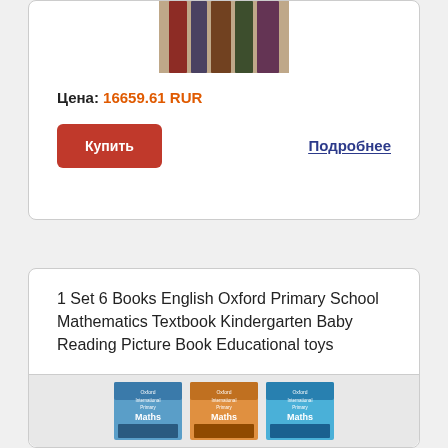[Figure (photo): Book covers stacked - top portion cut off, showing decorative book spines]
Цена: 16659.61 RUR
Купить
Подробнее
1 Set 6 Books English Oxford Primary School Mathematics Textbook Kindergarten Baby Reading Picture Book Educational toys
[Figure (photo): Three Oxford International Primary Maths textbook covers shown side by side]